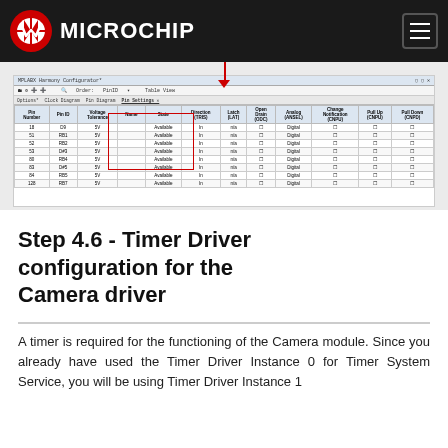Microchip
[Figure (screenshot): MPLABX Harmony Configurator screenshot showing Pin Settings table with Pin Number, PinID, Voltage Tolerance, Name, State, Direction, Latch, Open Drain, Analog, Change Notification, Pull Up, Pull Down columns. Several rows are highlighted in a red rectangle. A red arrow points down to the highlighted area from above.]
Step 4.6 - Timer Driver configuration for the Camera driver
A timer is required for the functioning of the Camera module. Since you already have used the Timer Driver Instance 0 for Timer System Service, you will be using Timer Driver Instance 1